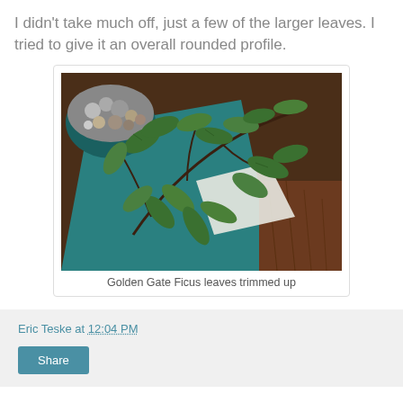I didn't take much off, just a few of the larger leaves. I tried to give it an overall rounded profile.
[Figure (photo): Photo of Golden Gate Ficus trimmed leaves laid out on a teal mat and wooden table surface, with a pot of stones visible in the upper left corner and a white cloth in the center.]
Golden Gate Ficus leaves trimmed up
Eric Teske at 12:04 PM
Share